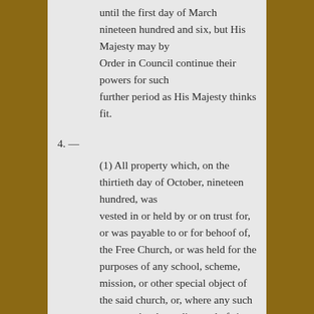until the first day of March nineteen hundred and six, but His Majesty may by Order in Council continue their powers for such further period as His Majesty thinks fit.
4. —
(1) All property which, on the thirtieth day of October, nineteen hundred, was vested in or held by or on trust for, or was payable to or for behoof of, the Free Church, or was held for the purposes of any school, scheme, mission, or other special object of the said church, or, where any such property has been disposed of since that date, the proceeds of sale thereof or any investments representing the same, including any revenue or accumulations of any such property, proceeds of sale, or investments accruing since the said date, shall, notwithstanding anything that has taken place since said date, be deemed to be property in question within the meaning of this Act, subject in any case to any disbursements properly made since